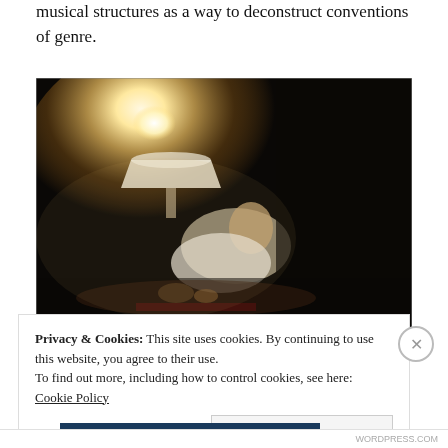musical structures as a way to deconstruct conventions of genre.
[Figure (photo): A person leaning over, illuminated by a desk lamp with a white lampshade in a dark atmospheric setting, photographed from above.]
Privacy & Cookies: This site uses cookies. By continuing to use this website, you agree to their use.
To find out more, including how to control cookies, see here: Cookie Policy
Close and accept